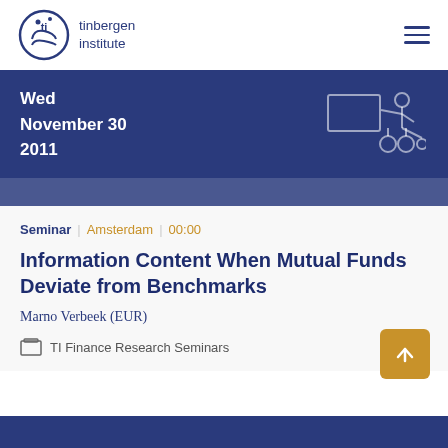[Figure (logo): Tinbergen Institute logo with circular TI icon and institute name]
tinbergen institute
Wed
November 30
2011
[Figure (illustration): Line drawing of a person presenting at a whiteboard/screen with wheels]
Seminar | Amsterdam | 00:00
Information Content When Mutual Funds Deviate from Benchmarks
Marno Verbeek (EUR)
TI Finance Research Seminars